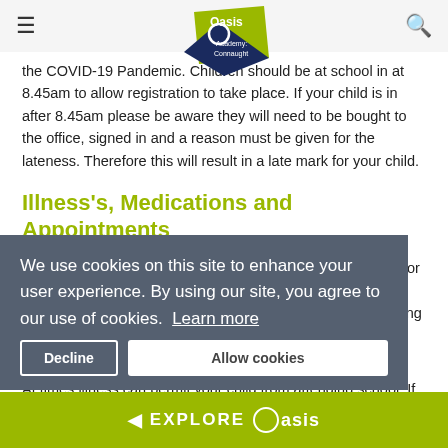Oasis Academy: Connaught
the COVID-19 Pandemic. Children should be at school in at 8.45am to allow registration to take place. If your child is in after 8.45am please be aware they will need to be bought to the office, signed in and a reason must be given for the lateness. Therefore this will result in a late mark for your child.
Illness's, Medications and Appointments
We understand at times that there can be genuine reasons for absences. Please remember to keep the Academy Office informed at all times about any absence from school by calling 01275 894 590.
Illness's
At times illness can permit your child from attending school. If
We use cookies on this site to enhance your user experience. By using our site, you agree to our use of cookies. Learn more
EXPLORE Oasis